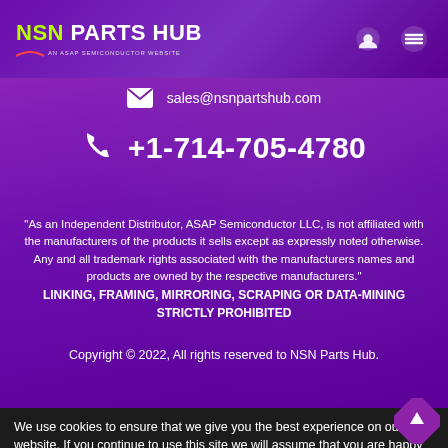NSN PARTS HUB - An ASAP Semiconductor Website
sales@nsnpartshub.com
+1-714-705-4780
"As an Independent Distributor, ASAP Semiconductor LLC, is not affiliated with the manufacturers of the products it sells except as expressly noted otherwise. Any and all trademark rights associated with the manufacturers names and products are owned by the respective manufacturers." LINKING, FRAMING, MIRRORING, SCRAPING OR DATA-MINING STRICTLY PROHIBITED
Copyright © 2022, All rights reserved to NSN Parts Hub.
We use cookies to ensure that we give you the best experience on our website. If you continue to use this site we will assume that you are happy with it.